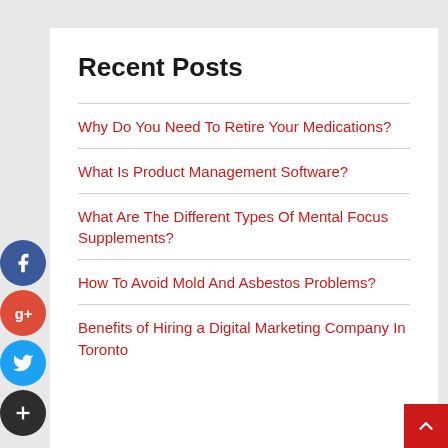Recent Posts
Why Do You Need To Retire Your Medications?
What Is Product Management Software?
What Are The Different Types Of Mental Focus Supplements?
How To Avoid Mold And Asbestos Problems?
Benefits of Hiring a Digital Marketing Company In Toronto